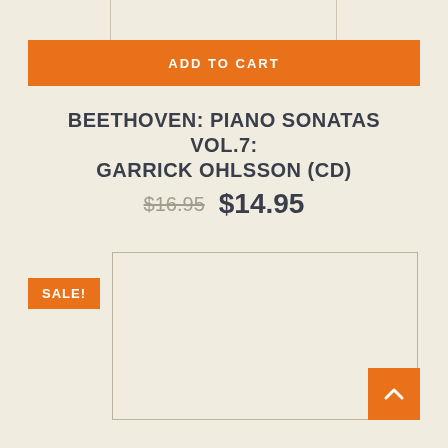ADD TO CART
BEETHOVEN: PIANO SONATAS VOL.7: GARRICK OHLSSON (CD)
$16.95  $14.95
SALE!
[Figure (other): Product image placeholder box — empty cream-colored rectangle with border]
Back to top arrow button